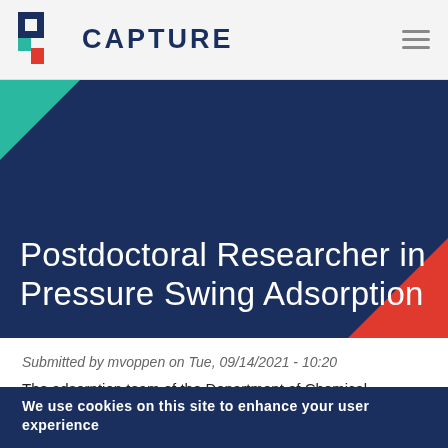CAPTURE
[Figure (logo): CAPTURE organization logo: stylized C shape made of blue and red geometric blocks, with the word CAPTURE in dark navy bold text]
Postdoctoral Researcher in Pressure Swing Adsorption
Submitted by mvoppen on Tue, 09/14/2021 - 10:20
The adsorption team of the Department of Chemical Engineering
We use cookies on this site to enhance your user experience